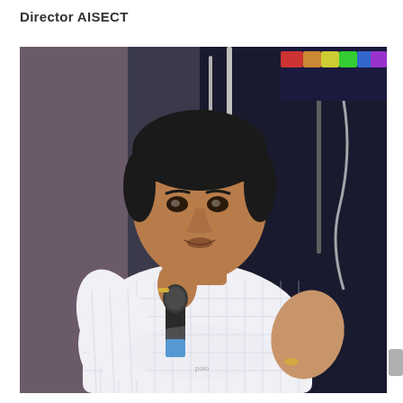Director AISECT
[Figure (photo): A man in a white checkered shirt speaking into a black microphone with a blue accent, gesturing with his right hand. Background shows stage equipment and a dark blurred backdrop with colorful lighting.]